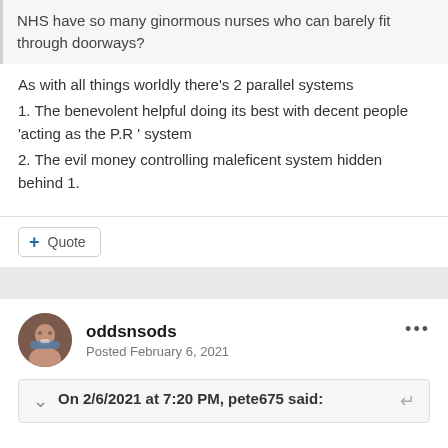NHS have so many ginormous nurses who can barely fit through doorways?
As with all things worldly there's 2 parallel systems
1. The benevolent helpful doing its best with decent people 'acting as the P.R ' system
2. The evil money controlling maleficent system hidden behind 1.
+ Quote
oddsnsods
Posted February 6, 2021
On 2/6/2021 at 7:20 PM, pete675 said: